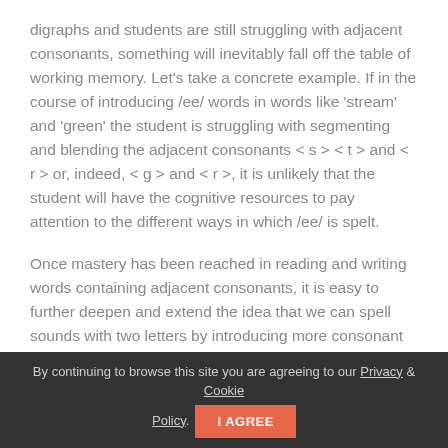digraphs and students are still struggling with adjacent consonants, something will inevitably fall off the table of working memory. Let's take a concrete example. If in the course of introducing /ee/ words in words like 'stream' and 'green' the student is struggling with segmenting and blending the adjacent consonants < s > < t > and < r > or, indeed, < g > and < r >, it is unlikely that the student will have the cognitive resources to pay attention to the different ways in which /ee/ is spelt.
Once mastery has been reached in reading and writing words containing adjacent consonants, it is easy to further deepen and extend the idea that we can spell sounds with two letters by introducing more consonant digraphs: < sh >, < ch >, < th > and so on, after which accommodating to the idea that we can also spell a sound
By continuing to browse this site you are agreeing to our Privacy & Cookie Policy.